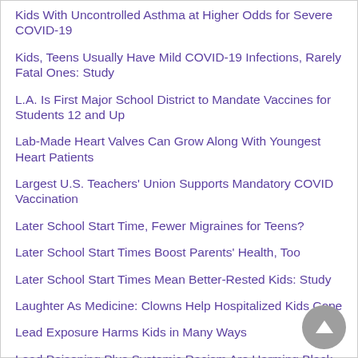Kids With Uncontrolled Asthma at Higher Odds for Severe COVID-19
Kids, Teens Usually Have Mild COVID-19 Infections, Rarely Fatal Ones: Study
L.A. Is First Major School District to Mandate Vaccines for Students 12 and Up
Lab-Made Heart Valves Can Grow Along With Youngest Heart Patients
Largest U.S. Teachers' Union Supports Mandatory COVID Vaccination
Later School Start Time, Fewer Migraines for Teens?
Later School Start Times Boost Parents' Health, Too
Later School Start Times Mean Better-Rested Kids: Study
Laughter As Medicine: Clowns Help Hospitalized Kids Cope
Lead Exposure Harms Kids in Many Ways
Lead Poisoning Plus Systemic Racism Are Harming Black Kids' Test Scores